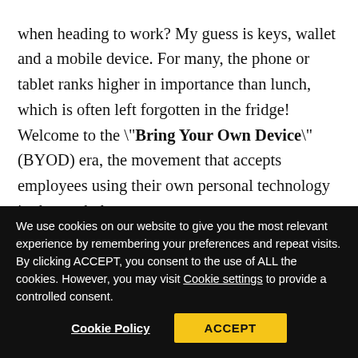"What do you grab on your mad dash out the door when heading to work? My guess is keys, wallet and a mobile device. For many, the phone or tablet ranks higher in importance than lunch, which is often left forgotten in the fridge! Welcome to the "Bring Your Own Device" (BYOD) era, the movement that accepts employees using their own personal technology in the workplace.
We use cookies on our website to give you the most relevant experience by remembering your preferences and repeat visits. By clicking ACCEPT, you consent to the use of ALL the cookies. However, you may visit Cookie settings to provide a controlled consent.
Cookie Policy | ACCEPT